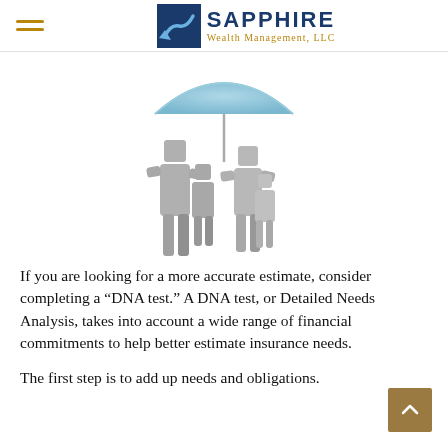SAPPHIRE Wealth Management, LLC
[Figure (illustration): 3D render of a family of four (two adults and two children) standing under a light blue umbrella, depicted as stylized gray block figures]
If you are looking for a more accurate estimate, consider completing a “DNA test.” A DNA test, or Detailed Needs Analysis, takes into account a wide range of financial commitments to help better estimate insurance needs.
The first step is to add up needs and obligations.